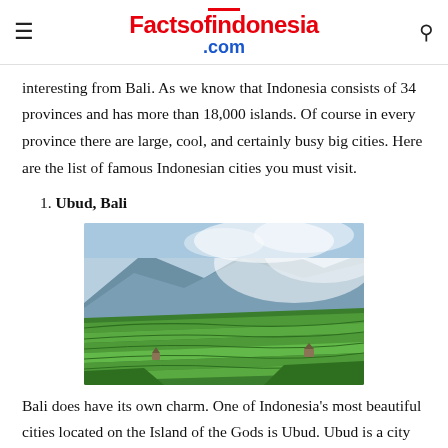Factsofindonesia.com
interesting from Bali. As we know that Indonesia consists of 34 provinces and has more than 18,000 islands. Of course in every province there are large, cool, and certainly busy big cities. Here are the list of famous Indonesian cities you must visit.
1. Ubud, Bali
[Figure (photo): Aerial view of terraced rice fields on hillside in Bali, Indonesia, with mountains and mist in the background]
Bali does have its own charm. One of Indonesia’s most beautiful cities located on the Island of the Gods is Ubud. Ubud is a city with